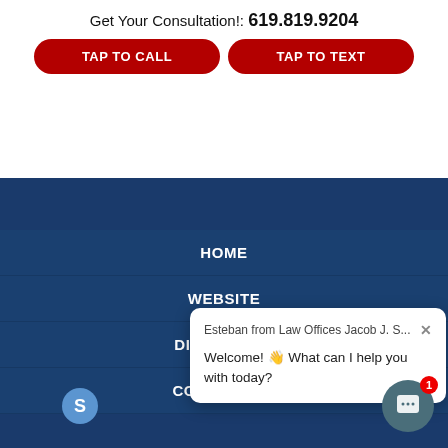Get Your Consultation!: 619.819.9204
TAP TO CALL
TAP TO TEXT
Email: info@h1b.biz
HOME
WEBSITE
DISCLAIMER
CONTACT US
Esteban from Law Offices Jacob J. S...  Welcome! 👋 What can I help you with today?